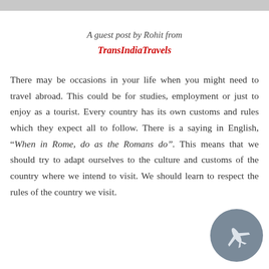A guest post by Rohit from TransIndiaTravels
There may be occasions in your life when you might need to travel abroad. This could be for studies, employment or just to enjoy as a tourist. Every country has its own customs and rules which they expect all to follow. There is a saying in English, “When in Rome, do as the Romans do”. This means that we should try to adapt ourselves to the culture and customs of the country where we intend to visit. We should learn to respect the rules of the country we visit.
[Figure (illustration): A circular dark gray button with a white airplane icon]